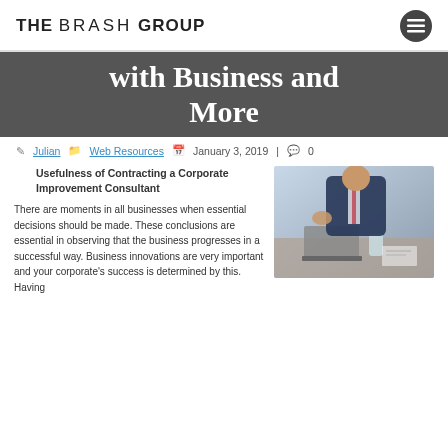THE BRASH GROUP
with Business and More
Julian | Web Resources | January 3, 2019 | 0
Usefulness of Contracting a Corporate Improvement Consultant
[Figure (photo): Business person in suit gesturing at a meeting table with laptop and glass of water]
There are moments in all businesses when essential decisions should be made. These conclusions are essential in observing that the business progresses in a successful way. Business innovations are very important and your corporate's success is determined by this. Having